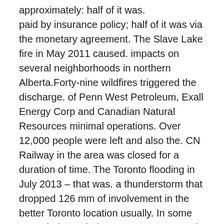approximately: half of it was. paid by insurance policy; half of it was via the monetary agreement. The Slave Lake fire in May 2011 caused. impacts on several neighborhoods in northern Alberta.Forty-nine wildfires triggered the discharge. of Penn West Petroleum, Exall Energy Corp and Canadian Natural Resources minimal operations. Over 12,000 people were left and also the. CN Railway in the area was closed for a duration of time. The Toronto flooding in July 2013 – that was. a thunderstorm that dropped 126 mm of involvement in the better Toronto location usually. In some areas it depended on 175 mm. It caused comprehensive damages to existing transportation. corridors and also created wide-spread building damages. It interrupted about 300,000 residents. The Insurance Bureau of Canada estimated the. flooding created$ 940 million worth of residential property damages. The southern Alberta flooding in